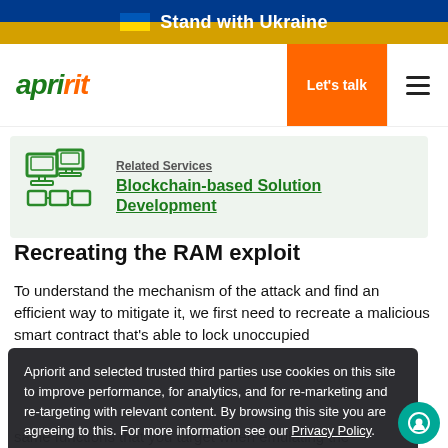Stand with Ukraine
[Figure (logo): Apriorit logo with green and orange text, italic style]
Let's talk
[Figure (illustration): Blockchain-related icon with interconnected blocks]
Related Services
Blockchain-based Solution Development
Recreating the RAM exploit
To understand the mechanism of the attack and find an efficient way to mitigate it, we first need to recreate a malicious smart contract that's able to lock unoccupied
Apriorit and selected trusted third parties use cookies on this site to improve performance, for analytics, and for re-marketing and re-targeting with relevant content. By browsing this site you are agreeing to this. For more information see our Privacy Policy.
Close
same functions that you target when emulating the